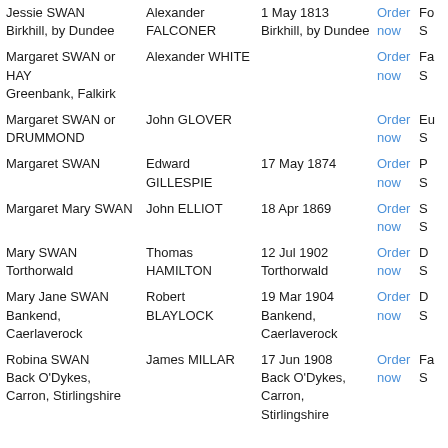| Name / Place | Spouse | Date / Place | Action | Ref |
| --- | --- | --- | --- | --- |
| Jessie SWAN
Birkhill, by Dundee | Alexander FALCONER | 1 May 1813
Birkhill, by Dundee | Order now | Fo S |
| Margaret SWAN or HAY
Greenbank, Falkirk | Alexander WHITE |  | Order now | Fa S |
| Margaret SWAN or DRUMMOND | John GLOVER |  | Order now | Eu S |
| Margaret SWAN | Edward GILLESPIE | 17 May 1874 | Order now | P S |
| Margaret Mary SWAN | John ELLIOT | 18 Apr 1869 | Order now | S S |
| Mary SWAN
Torthorwald | Thomas HAMILTON | 12 Jul 1902
Torthorwald | Order now | D S |
| Mary Jane SWAN
Bankend, Caerlaverock | Robert BLAYLOCK | 19 Mar 1904
Bankend, Caerlaverock | Order now | D S |
| Robina SWAN
Back O'Dykes, Carron, Stirlingshire | James MILLAR | 17 Jun 1908
Back O'Dykes, Carron, Stirlingshire | Order now | Fa S |